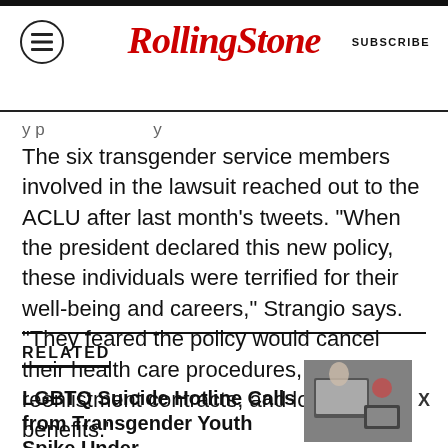RollingStone  SUBSCRIBE
y p y y
The six transgender service members involved in the lawsuit reached out to the ACLU after last month's tweets. “When the president declared this new policy, these individuals were terrified for their well-being and careers,” Strangio says. “They feared the policy would cancel their health care procedures, their reenlistment contracts, and loss of other benefits.”
RELATED
LGBTQ Suicide Hotline Calls from Transgender Youth Spike Under
[Figure (photo): Photo of a person at a computer/workspace, related article thumbnail]